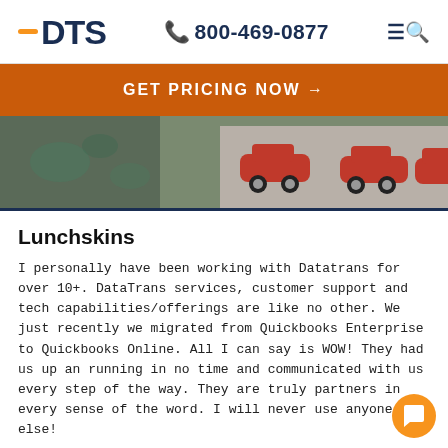DTS  800-469-0877
GET PRICING NOW →
[Figure (photo): Photo strip showing wrapped gifts or fabric with red car pattern and botanical print]
Lunchskins
I personally have been working with Datatrans for over 10+. DataTrans services, customer support and tech capabilities/offerings are like no other. We just recently we migrated from Quickbooks Enterprise to Quickbooks Online. All I can say is WOW! They had us up an running in no time and communicated with us every step of the way. They are truly partners in every sense of the word. I will never use anyone else!
-Shannon Peters, LunchSkins